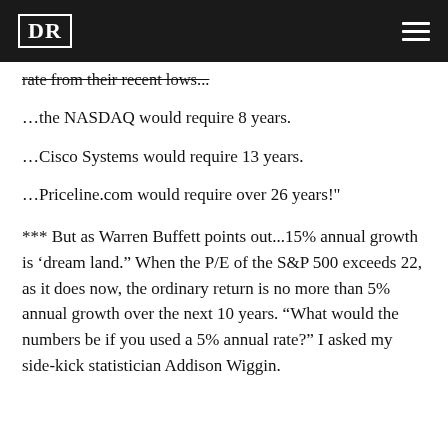DR
rate from their recent lows...
...the NASDAQ would require 8 years.
...Cisco Systems would require 13 years.
...Priceline.com would require over 26 years!"
*** But as Warren Buffett points out...15% annual growth is ‘dream land.” When the P/E of the S&P 500 exceeds 22, as it does now, the ordinary return is no more than 5% annual growth over the next 10 years. “What would the numbers be if you used a 5% annual rate?” I asked my side-kick statistician Addison Wiggin.